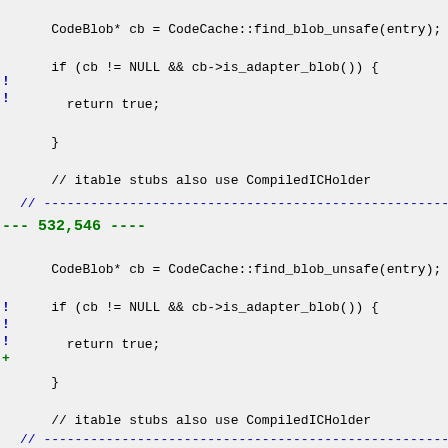Code diff showing changes to is_itable_stub function in CodeCache, lines 532-546
--- 532,546 ----
CodeBlob* cb = CodeCache::find_blob_unsafe(entry);
    if (cb != NULL && cb->is_adapter_blob()) {
      return true;
    }
    // itable stubs also use CompiledICHolder
!   if (cb != NULL && cb->is_vtable_blob()) {
!     VtableStub* s = VtableStubs::entry_point(entry);
!     return (s != NULL) && s->is_itable_stub();
    }
+
    return false;
  }